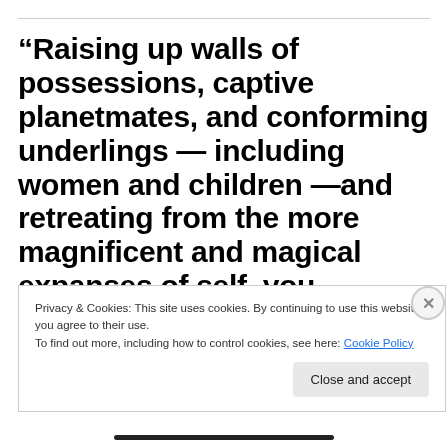“Raising up walls of possessions, captive planetmates, and conforming underlings — including women and children —and retreating from the more magnificent and magical expanses of self, you
Privacy & Cookies: This site uses cookies. By continuing to use this website, you agree to their use.
To find out more, including how to control cookies, see here: Cookie Policy